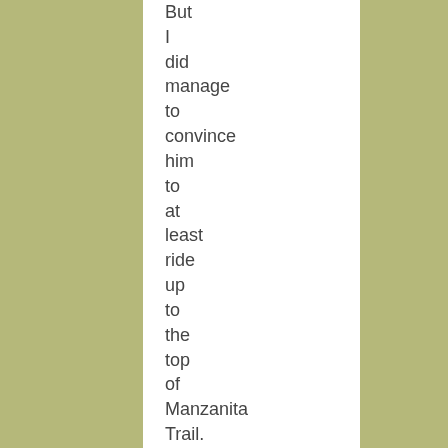But I did manage to convince him to at least ride up to the top of Manzanita Trail. I just took it